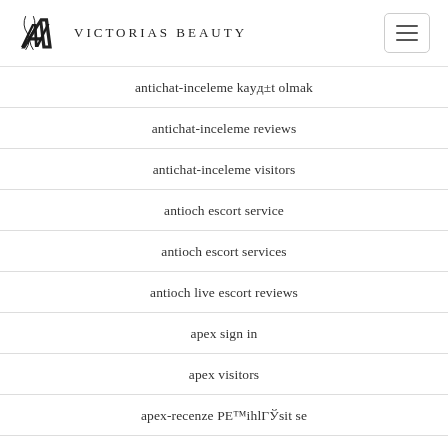Victorias Beauty
antichat-inceleme kayД±t olmak
antichat-inceleme reviews
antichat-inceleme visitors
antioch escort service
antioch escort services
antioch live escort reviews
apex sign in
apex visitors
apex-recenze PE™ihlГЎsit se